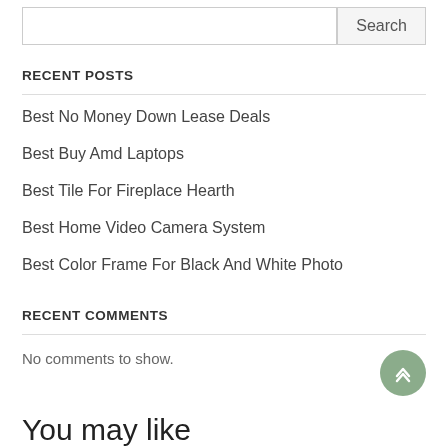RECENT POSTS
Best No Money Down Lease Deals
Best Buy Amd Laptops
Best Tile For Fireplace Hearth
Best Home Video Camera System
Best Color Frame For Black And White Photo
RECENT COMMENTS
No comments to show.
You may like